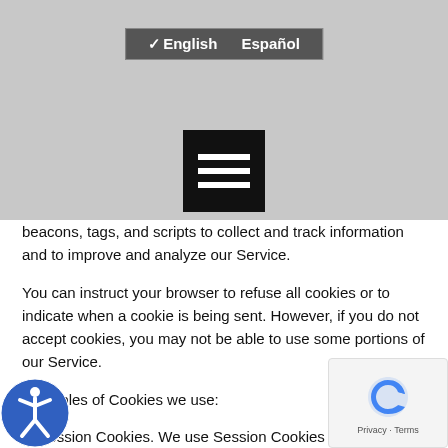[Figure (screenshot): Language selector bar showing checkmark next to English and Español option]
[Figure (screenshot): Hamburger menu icon (three horizontal white lines on black square background)]
beacons, tags, and scripts to collect and track information and to improve and analyze our Service.
You can instruct your browser to refuse all cookies or to indicate when a cookie is being sent. However, if you do not accept cookies, you may not be able to use some portions of our Service.
Examples of Cookies we use:
Session Cookies. We use Session Cookies to operate our Service.
Preference Cookies. We use Preference Cookies to remember your preferences and various settings.
Security Cookies. We use Security Cookies for security pu...